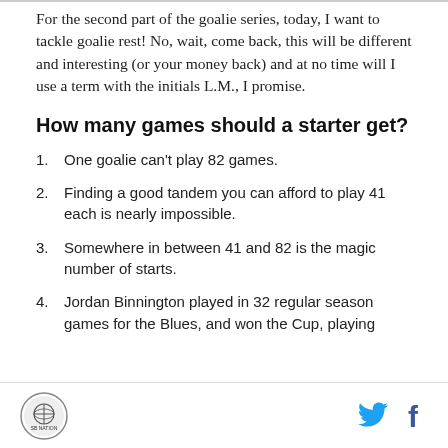For the second part of the goalie series, today, I want to tackle goalie rest! No, wait, come back, this will be different and interesting (or your money back) and at no time will I use a term with the initials L.M., I promise.
How many games should a starter get?
One goalie can't play 82 games.
Finding a good tandem you can afford to play 41 each is nearly impossible.
Somewhere in between 41 and 82 is the magic number of starts.
Jordan Binnington played in 32 regular season games for the Blues, and won the Cup, playing